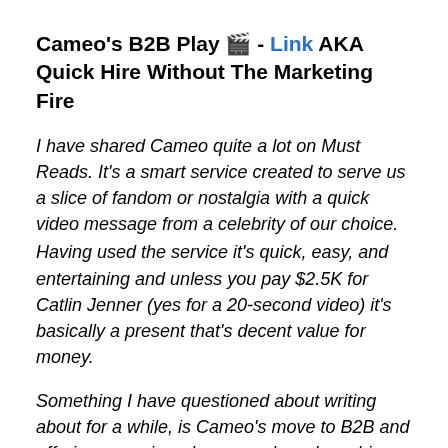Cameo's B2B Play 🎬 - Link AKA Quick Hire Without The Marketing Fire
I have shared Cameo quite a lot on Must Reads. It's a smart service created to serve us a slice of fandom or nostalgia with a quick video message from a celebrity of our choice. Having used the service it's quick, easy, and entertaining and unless you pay $2.5K for Catlin Jenner (yes for a 20-second video) it's basically a present that's decent value for money.
Something I have questioned about writing about for a while, is Cameo's move to B2B and offering a service where your brand can hire say a C-to-Z-list celebrity to promote your business a smart one. I understand it from Cameo's business perspective, why not charge...